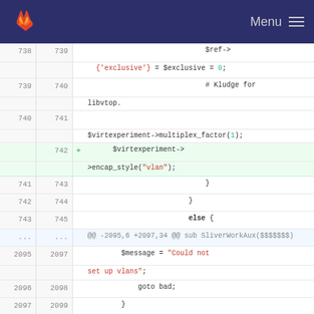GitLab — Menu
[Figure (screenshot): GitLab code diff view showing Perl code changes around lines 738-743 and 2095-2100, including addition of $virtexperiment->encap_style('vlan'); and foreach my $linkref]
738 739 $ref->
{'exclusive'} = $exclusive = 0;
739 740 # Kludge for libvtop.
740 741 $virtexperiment->multiplex_factor(1);
742 + $virtexperiment->encap_style("vlan");
741 743 }
742 744 }
743 745 else {
... ... @@ -2095,6 +2097,34 @@ sub SliverWorkAux($$$$$$$)
2095 2097 $message = "Could not set up vlans";
2096 2098 goto bad;
2097 2099 }
2100 + foreach my $linkref